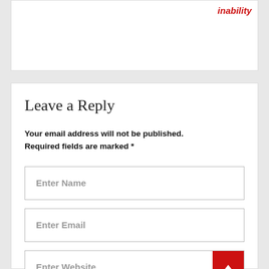inability
Leave a Reply
Your email address will not be published. Required fields are marked *
Enter Name
Enter Email
Enter Website